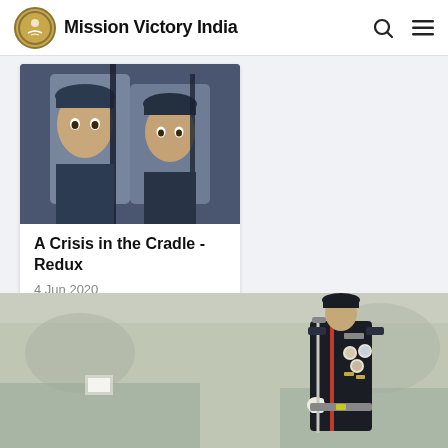Mission Victory India
[Figure (photo): Two military cadets in dark uniforms holding rifles, close-up frontal view]
A Crisis in the Cradle - Redux
4 Jun 2020
[Figure (photo): Military officer in formal black dress uniform with medals, holding a sword, standing at parade with foggy background and crowd behind]